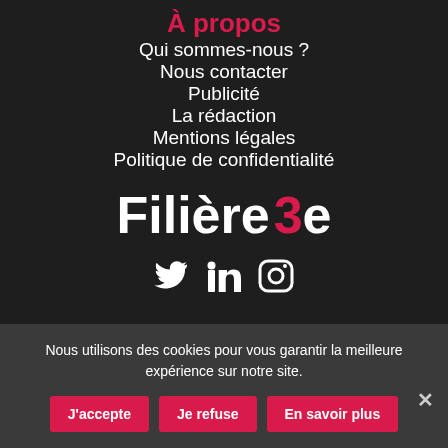À propos
Qui sommes-nous ?
Nous contacter
Publicité
La rédaction
Mentions légales
Politique de confidentialité
[Figure (logo): Filière 3e logo — white text with red '3']
[Figure (illustration): Social media icons: Twitter, LinkedIn, Instagram]
Nous utilisons des cookies pour vous garantir la meilleure expérience sur notre site.
J'accepte | Je refuse | En savoir plus